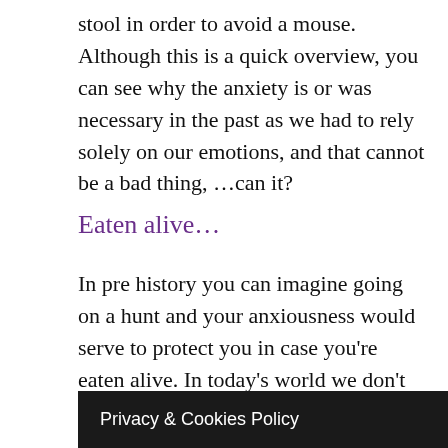stool in order to avoid a mouse. Although this is a quick overview, you can see why the anxiety is or was necessary in the past as we had to rely solely on our emotions, and that cannot be a bad thing, …can it?
Eaten alive…
In pre history you can imagine going on a hunt and your anxiousness would serve to protect you in case you're eaten alive. In today's world we don't have the same environment. Image nipping down to the local shops, we really don't have to be concerned about a lion going to eat us. But we don't have the same emotions as a primitive pre historic man. However we still have the emotions and we have forgo
Privacy & Cookies Policy